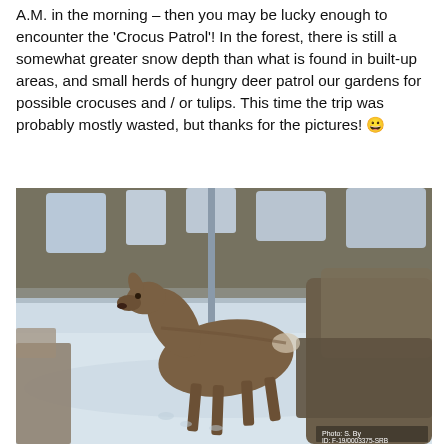A.M. in the morning – then you may be lucky enough to encounter the 'Crocus Patrol'! In the forest, there is still a somewhat greater snow depth than what is found in built-up areas, and small herds of hungry deer patrol our gardens for possible crocuses and / or tulips. This time the trip was probably mostly wasted, but thanks for the pictures! 😀
[Figure (photo): A deer standing on snow-covered ground near bare winter shrubs and trees, photographed in a garden or forest edge setting. Photo credit: S. By, ID: F-19/0003375-SRB]